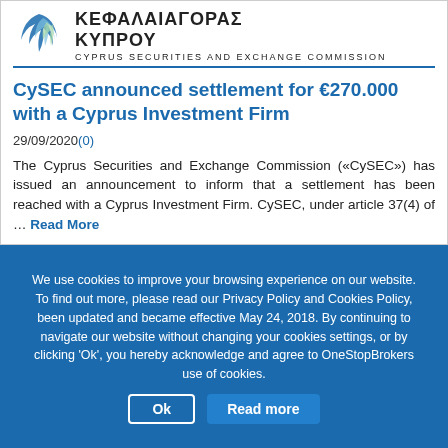[Figure (logo): Cyprus Securities and Exchange Commission logo with Greek text ΚΕΦΑΛΑΙΑΓΟΡΑΣ ΚΥΠΡΟΥ and English text CYPRUS SECURITIES AND EXCHANGE COMMISSION]
CySEC announced settlement for €270.000 with a Cyprus Investment Firm
29/09/2020(0)
The Cyprus Securities and Exchange Commission («CySEC») has issued an announcement to inform that a settlement has been reached with a Cyprus Investment Firm. CySEC, under article 37(4) of … Read More
We use cookies to improve your browsing experience on our website. To find out more, please read our Privacy Policy and Cookies Policy, been updated and became effective May 24, 2018. By continuing to navigate our website without changing your cookies settings, or by clicking 'Ok', you hereby acknowledge and agree to OneStopBrokers use of cookies.